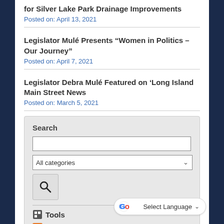for Silver Lake Park Drainage Improvements
Posted on: April 13, 2021
Legislator Mulé Presents “Women in Politics – Our Journey”
Posted on: April 7, 2021
Legislator Debra Mulé Featured on ‘Long Island Main Street News
Posted on: March 5, 2021
Search
All categories
Tools
RSS
Notify Me
Select Language